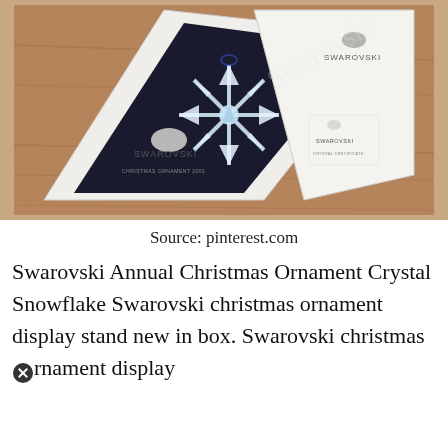[Figure (photo): A Swarovski Annual Christmas Ornament crystal snowflake displayed in its triangular white box on a wooden table. The box is open showing the crystal snowflake ornament inside, along with a Swarovski card/certificate. The box lid is propped open and shows the Swarovski swan logo and branding text 'CHRISTMAS ORNAMENT 2001' and 'CRYSTAL CERTIFICATE'.]
Source: pinterest.com
Swarovski Annual Christmas Ornament Crystal Snowflake Swarovski christmas ornament display stand new in box. Swarovski christmas ornament display